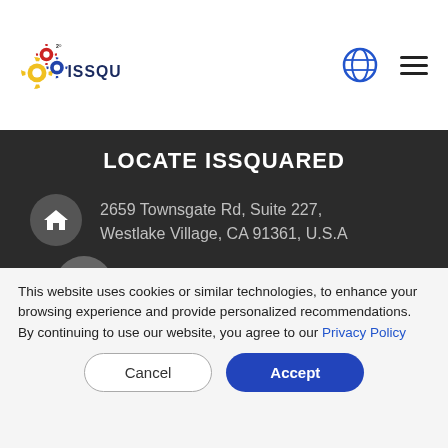[Figure (logo): ISSquared logo with gear icons and company name in dark blue letters]
LOCATE ISSQUARED
2659 Townsgate Rd, Suite 227, Westlake Village, CA 91361, U.S.A
+1 (805) 371-0585
sales@issquaredinc.com
This website uses cookies or similar technologies, to enhance your browsing experience and provide personalized recommendations. By continuing to use our website, you agree to our Privacy Policy